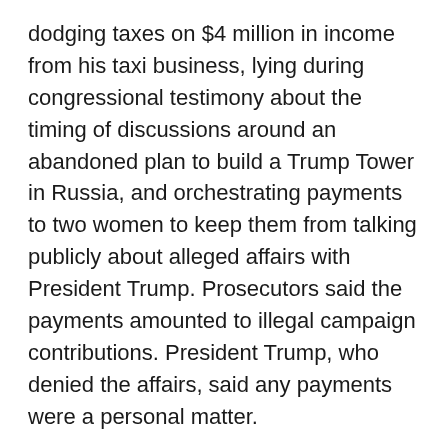dodging taxes on $4 million in income from his taxi business, lying during congressional testimony about the timing of discussions around an abandoned plan to build a Trump Tower in Russia, and orchestrating payments to two women to keep them from talking publicly about alleged affairs with President Trump. Prosecutors said the payments amounted to illegal campaign contributions. President Trump, who denied the affairs, said any payments were a personal matter.
Cohen was once one of President Trump's closest advisors but became a loud critic after pleading guilty.
A federal judge had denied Cohen's attempt for an early release to home confinement after serving 10 months in prison and said in a May ruling that it